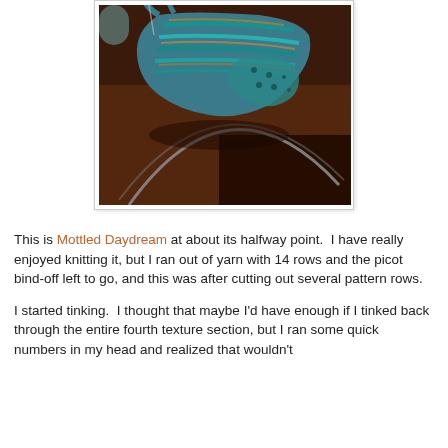[Figure (photo): A knitted item in progress, showing colorful striped and textured knitting in blue, teal, and orange/yellow tones, laid on a wooden surface with circular knitting needles visible.]
This is Mottled Daydream at about its halfway point.  I have really enjoyed knitting it, but I ran out of yarn with 14 rows and the picot bind-off left to go, and this was after cutting out several pattern rows.
I started tinking.  I thought that maybe I'd have enough if I tinked back through the entire fourth texture section, but I ran some quick numbers in my head and realized that wouldn't